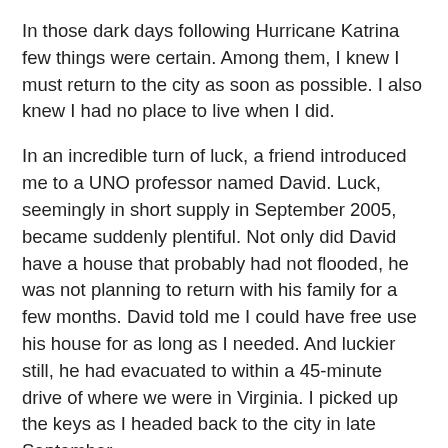In those dark days following Hurricane Katrina few things were certain. Among them, I knew I must return to the city as soon as possible. I also knew I had no place to live when I did.
In an incredible turn of luck, a friend introduced me to a UNO professor named David. Luck, seemingly in short supply in September 2005, became suddenly plentiful. Not only did David have a house that probably had not flooded, he was not planning to return with his family for a few months. David told me I could have free use his house for as long as I needed. And luckier still, he had evacuated to within a 45-minute drive of where we were in Virginia. I picked up the keys as I headed back to the city in late September.
I lived in David's house for about a month and he has never asked for anything in return.
Next week, David will once again be pedaling his generosity as he participates in this year's National Multiple Sclerosis Society Bike Tour. It's a 150-mile ride to raise money for